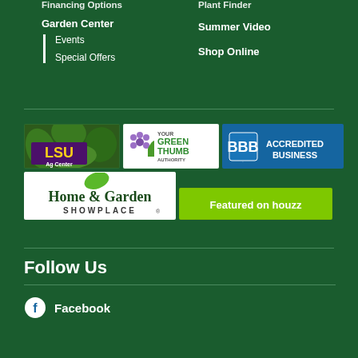Financing Options
Plant Finder
Garden Center
Summer Video
Events
Shop Online
Special Offers
[Figure (logo): LSU AgCenter logo with purple and gold text on green plant background]
[Figure (logo): Your Green Thumb Authority logo with flower and thumbs up icon on white background]
[Figure (logo): BBB Accredited Business logo on blue background]
[Figure (logo): Home & Garden Showplace logo on white background]
[Figure (logo): Featured on Houzz logo on green background]
Follow Us
Facebook